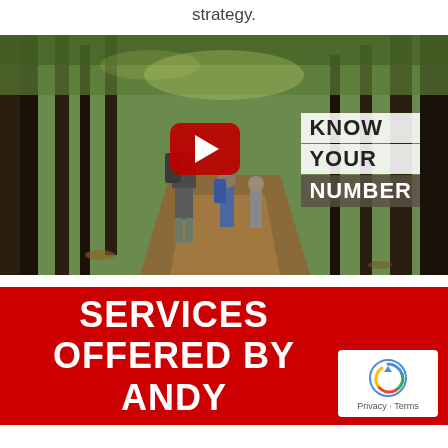strategy.
[Figure (screenshot): YouTube embedded video player showing two hikers walking through a forest trail, with a YouTube play button overlay and text overlay reading 'KNOW YOUR NUMBER'. Video controls bar shows 1:28 duration.]
SERVICES OFFERED BY ANDY